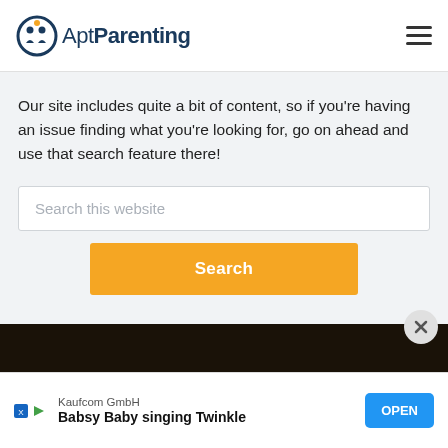[Figure (logo): AptParenting logo with circular icon of two figures and orange dot, and text 'AptParenting' in dark blue]
Our site includes quite a bit of content, so if you're having an issue finding what you're looking for, go on ahead and use that search feature there!
[Figure (screenshot): Search input box with placeholder text 'Search this website']
[Figure (screenshot): Orange 'Search' button]
[Figure (screenshot): Dark footer bar with close (X) button]
[Figure (screenshot): Advertisement bar: Kaufcom GmbH - Babsy Baby singing Twinkle - OPEN button]